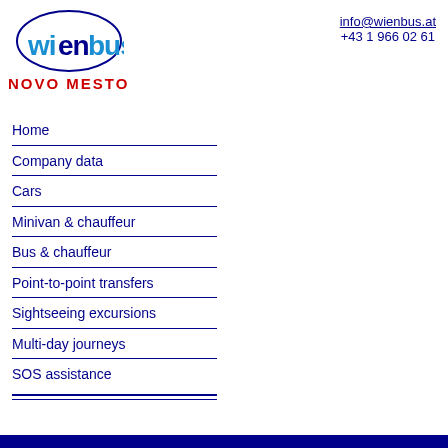[Figure (logo): Wienbus logo: blue oval outline containing the text WIENBUS in blue stylized lettering, with NOVO MESTO in bold red text below]
info@wienbus.at
+43 1 966 02 61
Home
Company data
Cars
Minivan & chauffeur
Bus & chauffeur
Point-to-point transfers
Sightseeing excursions
Multi-day journeys
SOS assistance